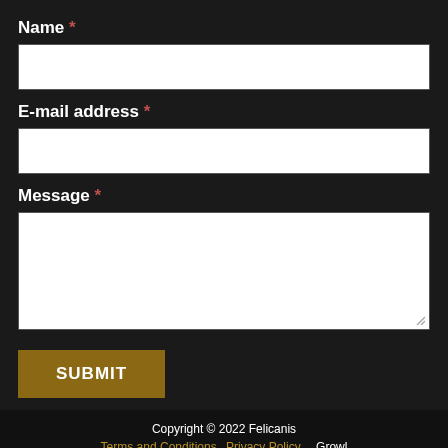Name *
[Figure (other): Text input field for Name]
E-mail address *
[Figure (other): Text input field for E-mail address]
Message *
[Figure (other): Textarea input field for Message]
SUBMIT
Copyright © 2022 Felicanis   Terms and Conditions   Privacy Policy   Growl